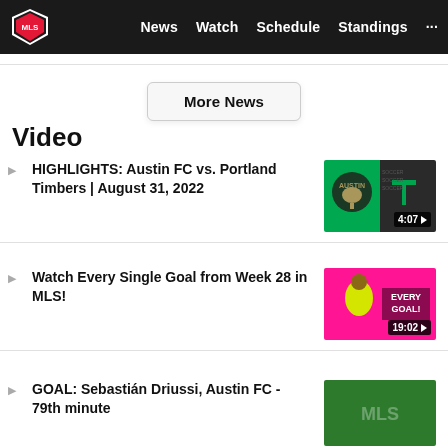MLS | News  Watch  Schedule  Standings  ...
More News
Video
HIGHLIGHTS: Austin FC vs. Portland Timbers | August 31, 2022 — 4:07
Watch Every Single Goal from Week 28 in MLS! — 19:02
GOAL: Sebastián Driussi, Austin FC - 79th minute